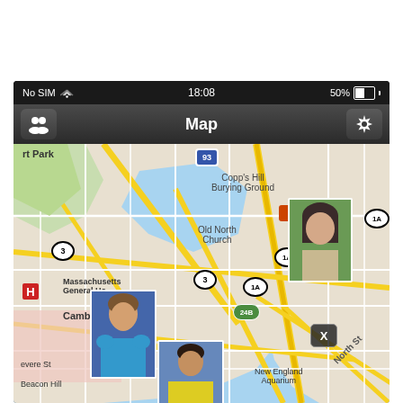[Figure (screenshot): iPhone screenshot showing a Map app with status bar displaying 'No SIM', WiFi icon, time '18:08', and '50%' battery. Navigation bar shows people icon, 'Map' title, and settings gear icon. Below is a map of Boston/North End area showing streets, landmarks including Copp's Hill Burying Ground, Old North Church, Massachusetts General Hospital, Cambridge St, Revere St, Beacon Hill, New England Aquarium. Route shields for 93, 1A, 3, 24B visible. Two person profile photo thumbnails overlaid on the map, and an X close button.]